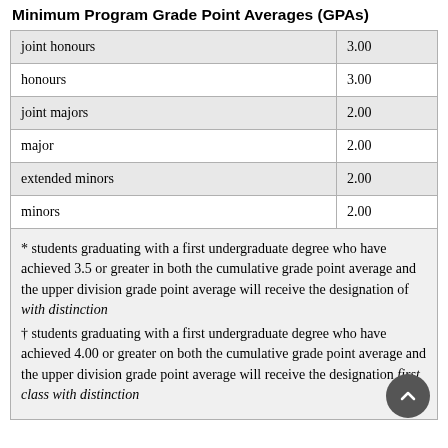Minimum Program Grade Point Averages (GPAs)
|  |  |
| --- | --- |
| joint honours | 3.00 |
| honours | 3.00 |
| joint majors | 2.00 |
| major | 2.00 |
| extended minors | 2.00 |
| minors | 2.00 |
* students graduating with a first undergraduate degree who have achieved 3.5 or greater in both the cumulative grade point average and the upper division grade point average will receive the designation of with distinction
† students graduating with a first undergraduate degree who have achieved 4.00 or greater on both the cumulative grade point average and the upper division grade point average will receive the designation first class with distinction